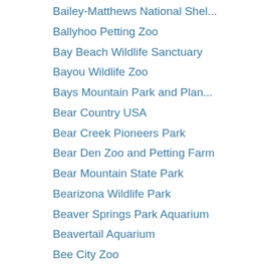Bailey-Matthews National Shel...
Ballyhoo Petting Zoo
Bay Beach Wildlife Sanctuary
Bayou Wildlife Zoo
Bays Mountain Park and Plan...
Bear Country USA
Bear Creek Pioneers Park
Bear Den Zoo and Petting Farm
Bear Mountain State Park
Bearizona Wildlife Park
Beaver Springs Park Aquarium
Beavertail Aquarium
Bee City Zoo
Bell Museum
Belle Isle Aquarium
Belle Isle Nature Center
Bergen County Zoo
Big Bear Alpine Zoo
Big Cat Habitat and Gulf Coast...
Big Cat Rescue
Big Joel's Safari
Binder Park Zoo